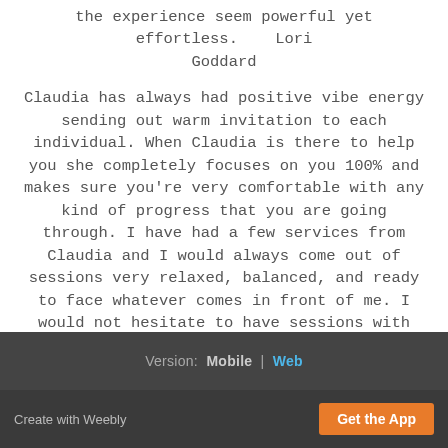the experience seem powerful yet effortless.    Lori Goddard
Claudia has always had positive vibe energy sending out warm invitation to each individual. When Claudia is there to help you she completely focuses on you 100% and makes sure you're very comfortable with any kind of progress that you are going through. I have had a few services from Claudia and I would always come out of sessions very relaxed, balanced, and ready to face whatever comes in front of me. I would not hesitate to have sessions with her in the future. Claudia has the whole package of warm personality and expertise in her work to provide her clients with. Thank you for all you have done Claudia!     Jolene Gallhager
Version:  Mobile | Web
Create with Weebly   Get the App